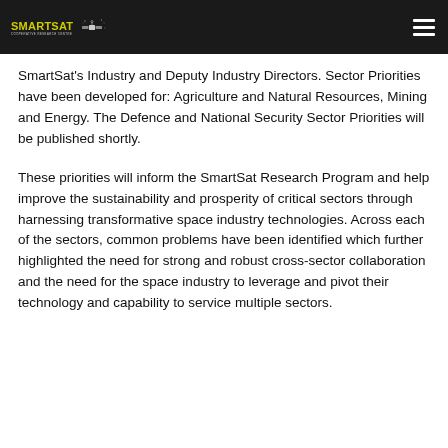SmartSat Cooperative Research Centre
SmartSat's Industry and Deputy Industry Directors. Sector Priorities have been developed for: Agriculture and Natural Resources, Mining and Energy. The Defence and National Security Sector Priorities will be published shortly.
These priorities will inform the SmartSat Research Program and help improve the sustainability and prosperity of critical sectors through harnessing transformative space industry technologies. Across each of the sectors, common problems have been identified which further highlighted the need for strong and robust cross-sector collaboration and the need for the space industry to leverage and pivot their technology and capability to service multiple sectors.